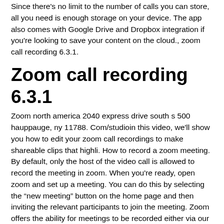Since there's no limit to the number of calls you can store, all you need is enough storage on your device. The app also comes with Google Drive and Dropbox integration if you're looking to save your content on the cloud., zoom call recording 6.3.1.
Zoom call recording 6.3.1
Zoom north america 2040 express drive south s 500 hauppauge, ny 11788. Com/studioin this video, we'll show you how to edit your zoom call recordings to make shareable clips that highli. How to record a zoom meeting. By default, only the host of the video call is allowed to record the meeting in zoom. When you're ready, open zoom and set up a meeting. You can do this by selecting the “new meeting” button on the home page and then inviting the relevant participants to join the meeting. Zoom offers the ability for meetings to be recorded either via our cloud-based service or by recording meetings directly to your device. This will ensure Zoom can manage your calls